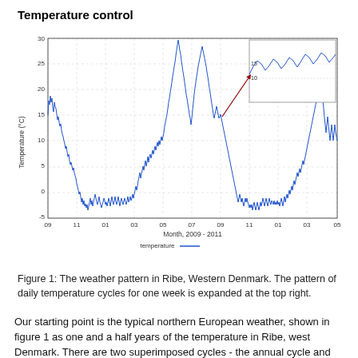Temperature control
[Figure (continuous-plot): Time-series line chart of temperature (°C) in Ribe, Western Denmark from September 2009 to approximately May 2011. X-axis shows months labeled 09, 11, 01, 03, 05, 07, 09, 11, 01, 03, 05. Y-axis shows Temperature (°C) from -5 to 30. A dense blue line shows highly variable daily temperature data with seasonal cycles. An inset at upper right shows an expanded view of one week of daily temperature cycles with labels 15 and 10 on the y-axis. A dark red/brown diagonal arrow points from the main chart area to the inset. A legend at the bottom reads 'temperature' with a blue line. X-axis label: 'Month, 2009 - 2011'.]
Figure 1: The weather pattern in Ribe, Western Denmark. The pattern of daily temperature cycles for one week is expanded at the top right.
Our starting point is the typical northern European weather, shown in figure 1 as one and a half years of the temperature in Ribe, west Denmark. There are two superimposed cycles - the annual cycle and the daily cycle which is shown expanded at the